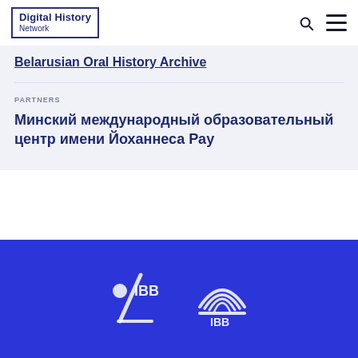Digital History Network
Belarusian Oral History Archive
PARTNERS
Минский международный образовательный центр имени Йоханнеса Рау
[Figure (logo): IBB logo with stylized figure, white on blue background]
[Figure (logo): IBB rainbow/globe logo, white on blue background]